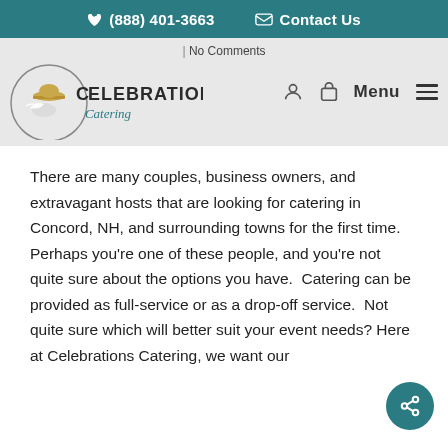(888) 401-3663  Contact Us
[Figure (logo): Celebrations Catering logo with circular emblem and stylized text]
No Comments
There are many couples, business owners, and extravagant hosts that are looking for catering in Concord, NH, and surrounding towns for the first time.  Perhaps you're one of these people, and you're not quite sure about the options you have.  Catering can be provided as full-service or as a drop-off service.  Not quite sure which will better suit your event needs? Here at Celebrations Catering, we want our